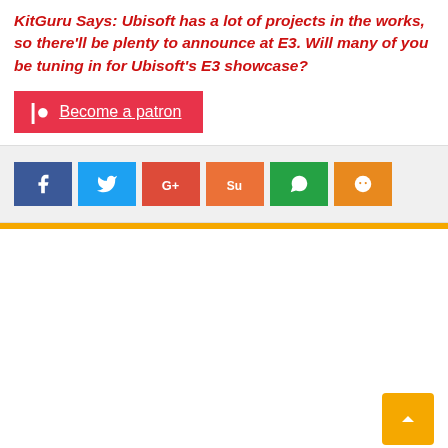KitGuru Says: Ubisoft has a lot of projects in the works, so there'll be plenty to announce at E3. Will many of you be tuning in for Ubisoft's E3 showcase?
[Figure (other): Patreon button - red rectangle with Patreon logo icon and underlined text 'Become a patron']
[Figure (other): Social sharing buttons row: Facebook (blue), Twitter (light blue), Google+ (red), StumbleUpon (orange-red), WhatsApp (green), Reddit (orange)]
[Figure (other): Back to top button - orange square with upward arrow chevron, positioned bottom right]